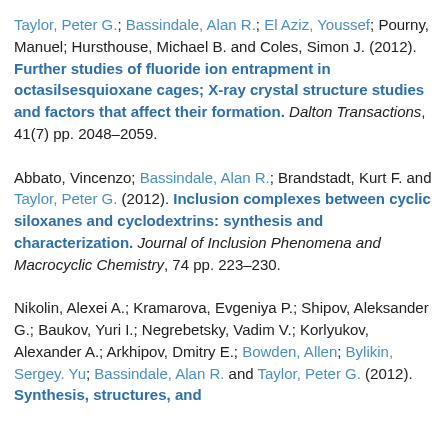Taylor, Peter G.; Bassindale, Alan R.; El Aziz, Youssef; Pourny, Manuel; Hursthouse, Michael B. and Coles, Simon J. (2012). Further studies of fluoride ion entrapment in octasilsesquioxane cages; X-ray crystal structure studies and factors that affect their formation. Dalton Transactions, 41(7) pp. 2048–2059.
Abbato, Vincenzo; Bassindale, Alan R.; Brandstadt, Kurt F. and Taylor, Peter G. (2012). Inclusion complexes between cyclic siloxanes and cyclodextrins: synthesis and characterization. Journal of Inclusion Phenomena and Macrocyclic Chemistry, 74 pp. 223–230.
Nikolin, Alexei A.; Kramarova, Evgeniya P.; Shipov, Aleksander G.; Baukov, Yuri I.; Negrebetsky, Vadim V.; Korlyukov, Alexander A.; Arkhipov, Dmitry E.; Bowden, Allen; Bylikin, Sergey. Yu; Bassindale, Alan R. and Taylor, Peter G. (2012). Synthesis, structures, and